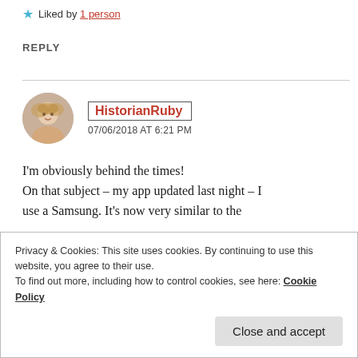★ Liked by 1 person
REPLY
[Figure (photo): Round avatar photo of a woman with blonde hair]
HistorianRuby
07/06/2018 AT 6:21 PM
I'm obviously behind the times! On that subject – my app updated last night – I use a Samsung. It's now very similar to the
Privacy & Cookies: This site uses cookies. By continuing to use this website, you agree to their use.
To find out more, including how to control cookies, see here: Cookie Policy
Close and accept